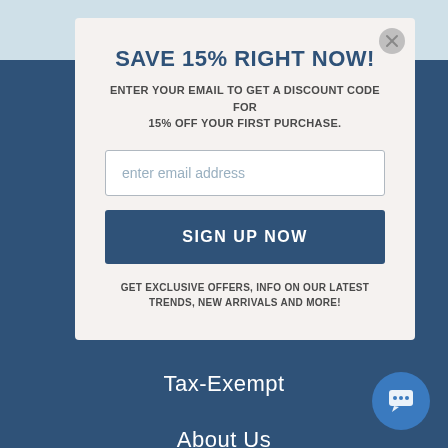SAVE 15% RIGHT NOW!
ENTER YOUR EMAIL TO GET A DISCOUNT CODE FOR 15% OFF YOUR FIRST PURCHASE.
enter email address
SIGN UP NOW
GET EXCLUSIVE OFFERS, INFO ON OUR LATEST TRENDS, NEW ARRIVALS AND MORE!
Order Status
Tax-Exempt
About Us
Return Policy
Awareness Calendar
Contact Us